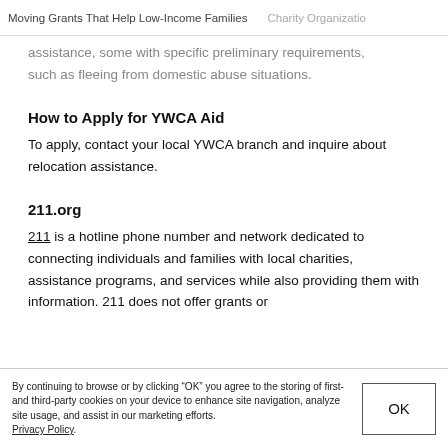Moving Grants That Help Low-Income Families   Charity Organization
assistance, some with specific preliminary requirements, such as fleeing from domestic abuse situations.
How to Apply for YWCA Aid
To apply, contact your local YWCA branch and inquire about relocation assistance.
211.org
211 is a hotline phone number and network dedicated to connecting individuals and families with local charities, assistance programs, and services while also providing them with information. 211 does not offer grants or
By continuing to browse or by clicking “OK” you agree to the storing of first- and third-party cookies on your device to enhance site navigation, analyze site usage, and assist in our marketing efforts. Privacy Policy.